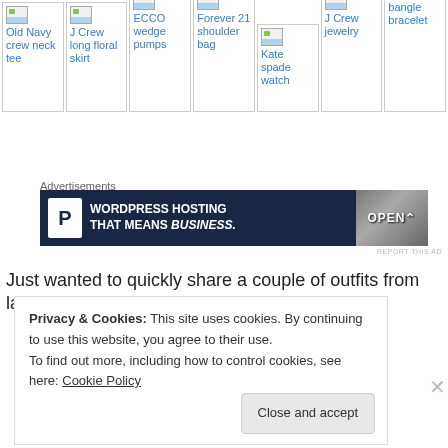[Figure (other): Product grid with 7 fashion/accessory items shown as broken image placeholders with blue text labels: Old Navy crew neck tee, J Crew long floral skirt, ECCO wedge pumps, Forever 21 shoulder bag, Kate spade watch, J Crew jewelry, Michael Kors bangle bracelet]
Advertisements
[Figure (other): Advertisement banner: Pressable WordPress Hosting That Means Business. with OPEN sign image on right]
REPORT THIS AD
Just wanted to quickly share a couple of outfits from last
Privacy & Cookies: This site uses cookies. By continuing to use this website, you agree to their use.
To find out more, including how to control cookies, see here: Cookie Policy
Close and accept